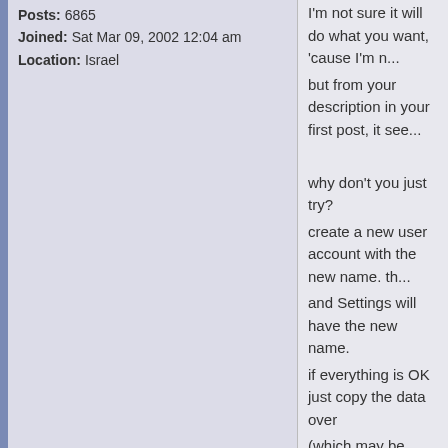Posts: 6865
Joined: Sat Mar 09, 2002 12:04 am
Location: Israel
I'm not sure it will do what you want, 'cause I'm n... but from your description in your first post, it see...

why don't you just try?
create a new user account with the new name. th... and Settings will have the new name.
if everything is OK just copy the data over
(which may be problematic. some applications sa... Documents and Settings...thing might be broken.... applicatios, i dunno. maybe just running them wi... datafiles they need, but any settings/histories yo... files manually might work but then again might n...
then delete the old user account!
(which BTW you can't do from Control Panel -> U... Control Panel -> Administrative Tools -> Compute... Gropus)

if thigs don't work out, just remove the new acco...

(BTW i've done this once: creating a new accoun... application files, worked OK for me).

as for the tip in that link...tried that psgetsid but d...
...
anyway i would only try it after backing up all the...